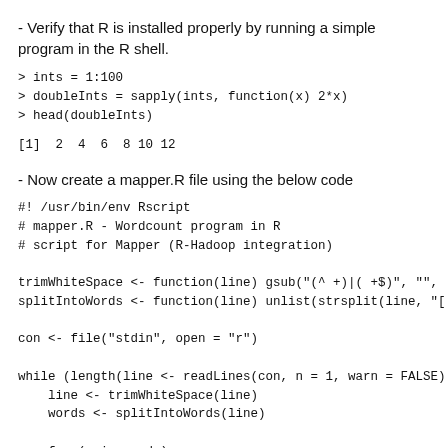- Verify that R is installed properly by running a simple program in the R shell.
> ints = 1:100
> doubleInts = sapply(ints, function(x) 2*x)
> head(doubleInts)
[1]  2  4  6  8 10 12
- Now create a mapper.R file using the below code
#! /usr/bin/env Rscript
# mapper.R - Wordcount program in R
# script for Mapper (R-Hadoop integration)

trimWhiteSpace <- function(line) gsub("(^ +)|( +$)", "",
splitIntoWords <- function(line) unlist(strsplit(line, "[

con <- file("stdin", open = "r")

while (length(line <- readLines(con, n = 1, warn = FALSE)
    line <- trimWhiteSpace(line)
    words <- splitIntoWords(line)

    for (w in words)